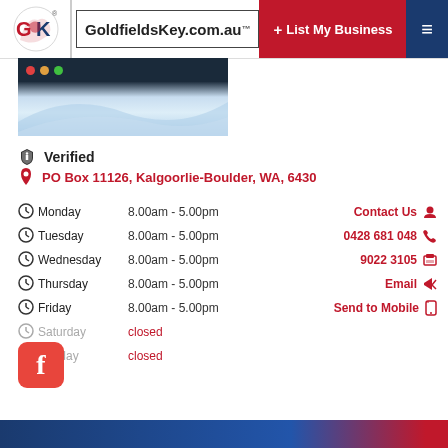GoldfieldsKey.com.au — List My Business
[Figure (screenshot): Business profile image with dark top bar and blue wave gradient]
Verified
PO Box 11126, Kalgoorlie-Boulder, WA, 6430
| Day | Hours |
| --- | --- |
| Monday | 8.00am - 5.00pm |
| Tuesday | 8.00am - 5.00pm |
| Wednesday | 8.00am - 5.00pm |
| Thursday | 8.00am - 5.00pm |
| Friday | 8.00am - 5.00pm |
| Saturday | closed |
| Sunday | closed |
Contact Us
0428 681 048
9022 3105
Email
Send to Mobile
[Figure (logo): Facebook icon (red rounded square with white f)]